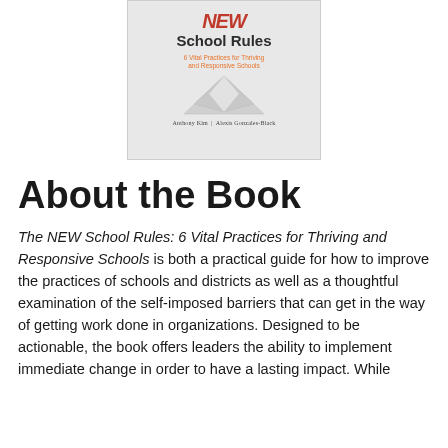[Figure (illustration): Book cover of 'The NEW School Rules: 6 Vital Practices for Thriving and Responsive Schools' by Anthony Kim and Alexis Gonzales-Black, showing paper fold design on grey background]
About the Book
The NEW School Rules: 6 Vital Practices for Thriving and Responsive Schools is both a practical guide for how to improve the practices of schools and districts as well as a thoughtful examination of the self-imposed barriers that can get in the way of getting work done in organizations. Designed to be actionable, the book offers leaders the ability to implement immediate change in order to have a lasting impact. While